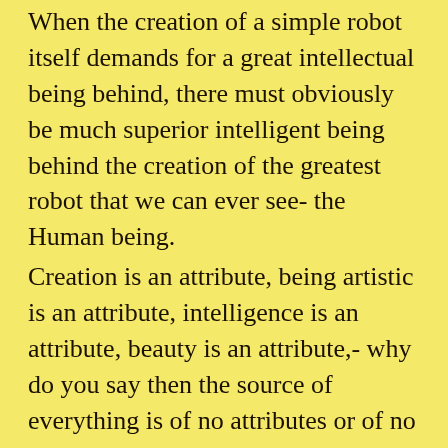When the creation of a simple robot itself demands for a great intellectual being behind, there must obviously be much superior intelligent being behind the creation of the greatest robot that we can ever see- the Human being.
Creation is an attribute, being artistic is an attribute, intelligence is an attribute, beauty is an attribute,- why do you say then the source of everything is of no attributes or of no qualities .
Are you saying that the ultimate source of everything ,
cannot have attributes,
or unable to have attributes
or don't like to have attributes
or unwilling to have attributes